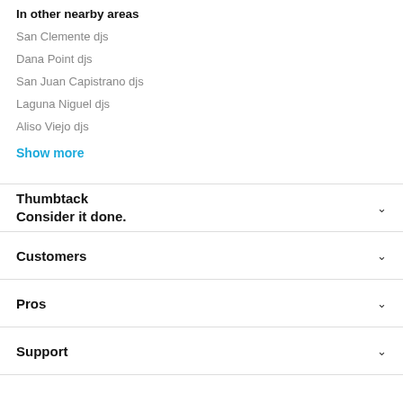In other nearby areas
San Clemente djs
Dana Point djs
San Juan Capistrano djs
Laguna Niguel djs
Aliso Viejo djs
Show more
Thumbtack
Consider it done.
Customers
Pros
Support